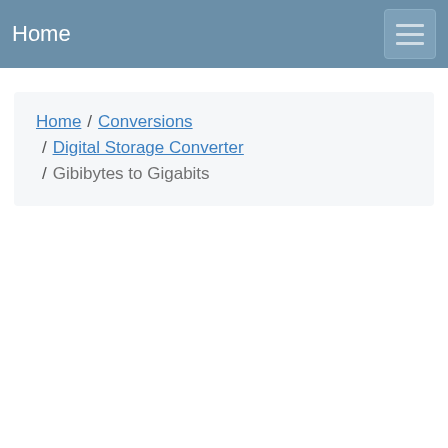Home
Home / Conversions / Digital Storage Converter / Gibibytes to Gigabits